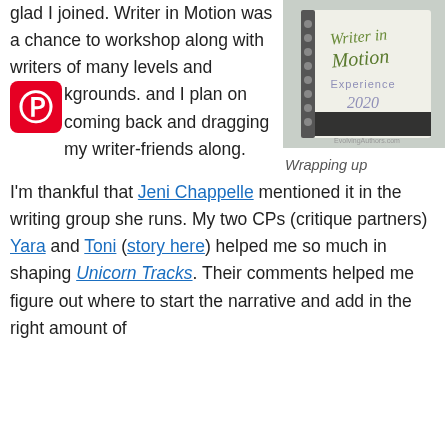glad I joined. Writer in Motion was a chance to workshop along with writers of many levels and backgrounds. and I plan on coming back and dragging my writer-friends along.
[Figure (photo): A spiral-bound notebook with 'Writer in Motion Experience 2020' text on the cover, photographed at an angle.]
Wrapping up
I'm thankful that Jeni Chappelle mentioned it in the writing group she runs. My two CPs (critique partners) Yara and Toni (story here) helped me so much in shaping Unicorn Tracks. Their comments helped me figure out where to start the narrative and add in the right amount of worldbuilding. They did, so so right.